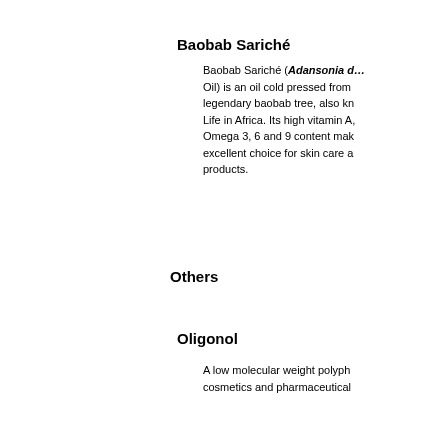Baobab Sariché
Baobab Sariché (Adansonia d… Oil) is an oil cold pressed from the legendary baobab tree, also kn… Life in Africa. Its high vitamin A, Omega 3, 6 and 9 content mak… excellent choice for skin care a… products.
Others
Oligonol
A low molecular weight polyph… cosmetics and pharmaceutical…